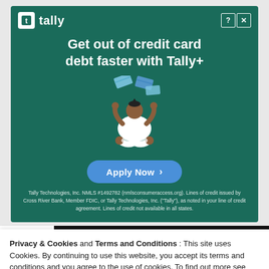[Figure (infographic): Tally+ credit card debt advertisement. Dark green background with Tally logo top-left, question mark and X controls top-right. Headline: 'Get out of credit card debt faster with Tally+'. Illustration of a person meditating cross-legged with credit cards floating above. Blue 'Apply Now ›' button. Fine print about Tally Technologies, Inc. NMLS #1492782.]
Privacy & Cookies and Terms and Conditions : This site uses Cookies. By continuing to use this website, you accept its terms and conditions and you agree to the use of cookies. To find out more see here Cookie Policy